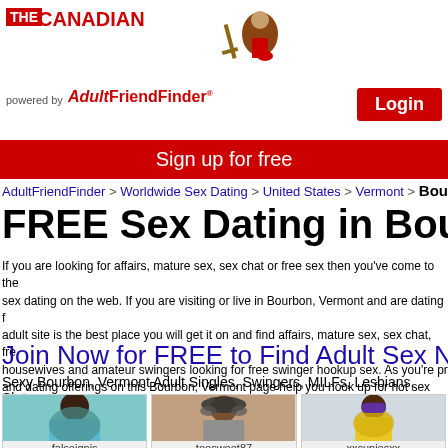THE CANADIAN powered by AdultFriendFinder Login
Sign up for free
AdultFriendFinder > Worldwide Sex Dating > United States > Vermont > Bourbe
FREE Sex Dating in Bourbon, V
If you are looking for affairs, mature sex, sex chat or free sex then you've come to the sex dating on the web. If you are visiting or live in Bourbon, Vermont and are dating f adult site is the best place you will get it on and find affairs, mature sex, sex chat, fre housewives and amateur swingers looking for free swinger hookup sex. As you're pr and dating offerings on this Bourbon, Vermont page help you hook up for hot sex qui Hook up today >>
Join Now for FREE to Find Adult Sex Near Bo
Sexy Bourbon, Vermont Adult Singles, Swingers, MILFs, Lesbians, Sluts
[Figure (photo): Profile photo of falseignis]
[Figure (photo): Profile photo of toosweet87]
[Figure (photo): Profile photo of xxcupiesxx]